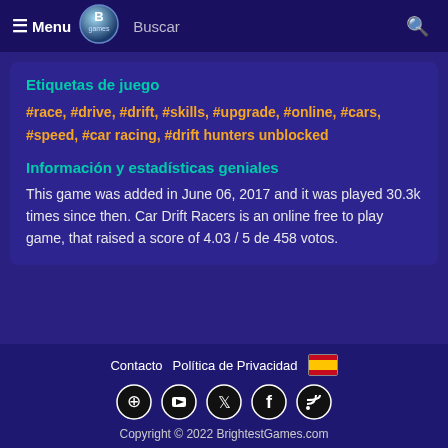≡ Menu  Buscar 🔍
Etiquetas de juego
#race, #drive, #drift, #skills, #upgrade, #online, #cars, #speed, #car racing, #drift hunters unblocked
Información y estadísticas geniales
This game was added in June 06, 2017 and it was played 30.3k times since then. Car Drift Racers is an online free to play game, that raised a score of 4.03 / 5 de 458 votos.
Contacto  Política de Privacidad  🇪🇸  Copyright © 2022 BrightestGames.com